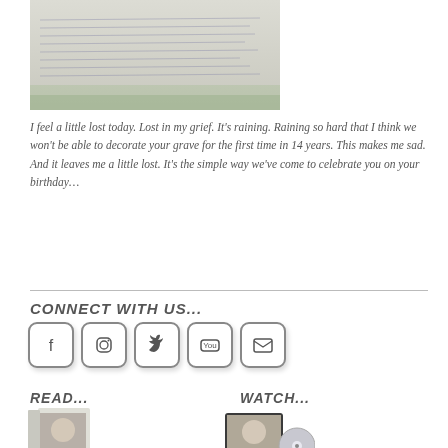[Figure (photo): Handwritten letter on paper with grass visible in background]
I feel a little lost today. Lost in my grief. It's raining. Raining so hard that I think we won't be able to decorate your grave for the first time in 14 years. This makes me sad. And it leaves me a little lost. It's the simple way we've come to celebrate you on your birthday…
CONNECT WITH US...
[Figure (infographic): Social media icons: Facebook, Instagram, Twitter, YouTube, Email]
READ...
WATCH...
[Figure (photo): Book cover - Eyes that See]
[Figure (photo): DVD - Judson's Eyes]